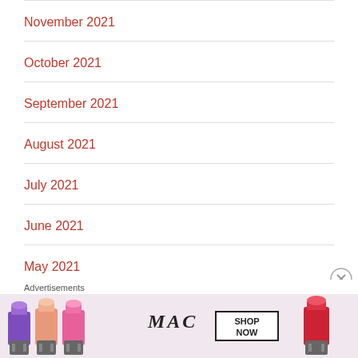November 2021
October 2021
September 2021
August 2021
July 2021
June 2021
May 2021
April 2021
[Figure (photo): MAC Cosmetics advertisement showing colorful lipsticks (purple, peach, pink, red) with MAC logo and SHOP NOW button]
Advertisements